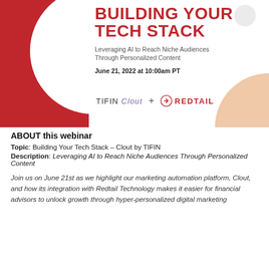[Figure (infographic): Webinar header banner with red block on left, white circle overlay, decorative peach quarter-circle bottom-right, small grey circle top-right. Contains 'BUILDING YOUR TECH STACK' title in red, subtitle, date, and TIFIN Clout + Redtail logos.]
ABOUT this webinar
Topic: Building Your Tech Stack – Clout by TIFIN
Description: Leveraging AI to Reach Niche Audiences Through Personalized Content
Join us on June 21st as we highlight our marketing automation platform, Clout, and how its integration with Redtail Technology makes it easier for financial advisors to unlock growth through hyper-personalized digital marketing